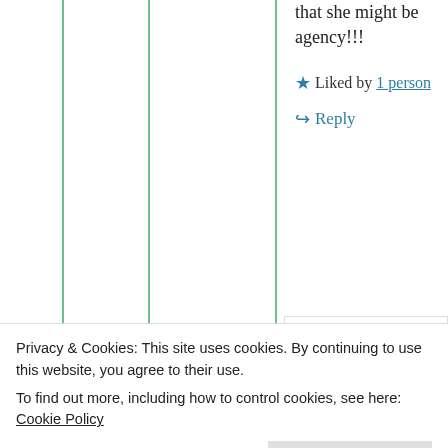that she might be agency!!!
★ Liked by 1 person
↪ Reply
[Figure (photo): Circular avatar image with radial pattern of gold/yellow tones and a green glowing center]
gu
dt
hot
Privacy & Cookies: This site uses cookies. By continuing to use this website, you agree to their use.
To find out more, including how to control cookies, see here: Cookie Policy
Close and accept
20: